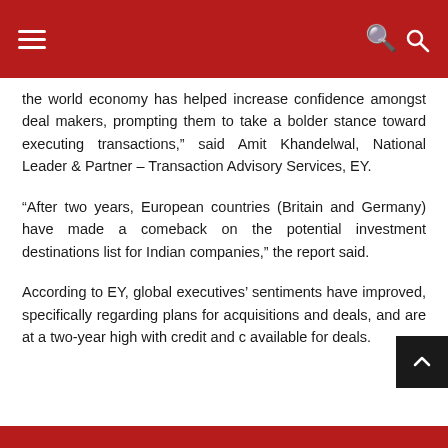Navigation header bar with menu and search icons
the world economy has helped increase confidence amongst deal makers, prompting them to take a bolder stance toward executing transactions,” said Amit Khandelwal, National Leader & Partner – Transaction Advisory Services, EY.
“After two years, European countries (Britain and Germany) have made a comeback on the potential investment destinations list for Indian companies,” the report said.
According to EY, global executives’ sentiments have improved, specifically regarding plans for acquisitions and deals, and are at a two-year high with credit and c available for deals.